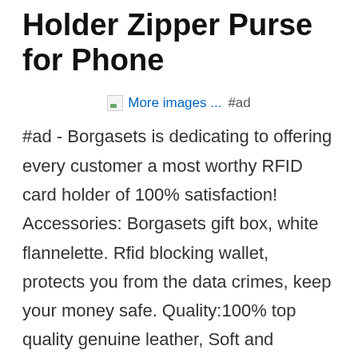Holder Zipper Purse for Phone
[Figure (other): Broken image placeholder with 'More images ...' link text and #ad label]
#ad - Borgasets is dedicating to offering every customer a most worthy RFID card holder of 100% satisfaction! Accessories: Borgasets gift box, white flannelette. Rfid blocking wallet, protects you from the data crimes, keep your money safe. Quality:100% top quality genuine leather, Soft and Durable. Handmade by the finest craftsmanship.
Size:4. 33" x 3. 34" x 019". Window. Structure:5 card slots, 2 id window, 1 middle compartment for cash.